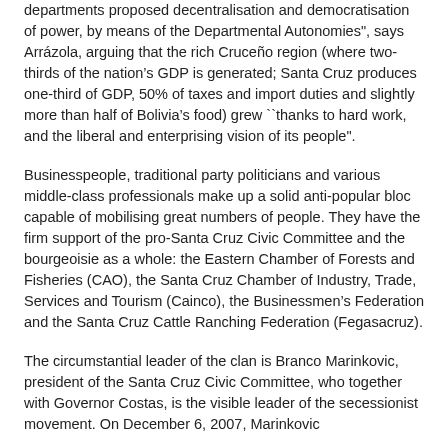departments proposed decentralisation and democratisation of power, by means of the Departmental Autonomies", says Arrázola, arguing that the rich Cruceño region (where two-thirds of the nation's GDP is generated; Santa Cruz produces one-third of GDP, 50% of taxes and import duties and slightly more than half of Bolivia's food) grew ``thanks to hard work, and the liberal and enterprising vision of its people".
Businesspeople, traditional party politicians and various middle-class professionals make up a solid anti-popular bloc capable of mobilising great numbers of people. They have the firm support of the pro-Santa Cruz Civic Committee and the bourgeoisie as a whole: the Eastern Chamber of Forests and Fisheries (CAO), the Santa Cruz Chamber of Industry, Trade, Services and Tourism (Cainco), the Businessmen's Federation and the Santa Cruz Cattle Ranching Federation (Fegasacruz).
The circumstantial leader of the clan is Branco Marinkovic, president of the Santa Cruz Civic Committee, who together with Governor Costas, is the visible leader of the secessionist movement. On December 6, 2007, Marinkovic